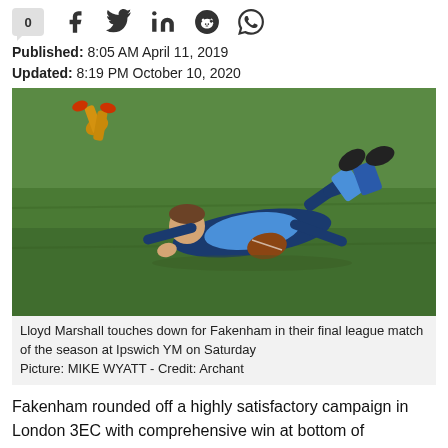0 [social share icons: Facebook, Twitter, LinkedIn, Reddit, WhatsApp]
Published: 8:05 AM April 11, 2019
Updated: 8:19 PM October 10, 2020
[Figure (photo): Rugby player Lloyd Marshall diving to touch down on a green grass pitch, wearing a blue and dark jersey, holding ball.]
Lloyd Marshall touches down for Fakenham in their final league match of the season at Ipswich YM on Saturday Picture: MIKE WYATT - Credit: Archant
Fakenham rounded off a highly satisfactory campaign in London 3EC with comprehensive win at bottom of